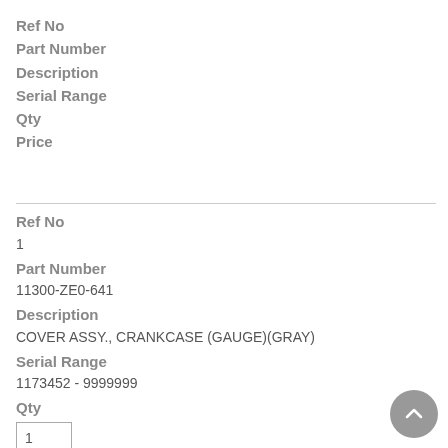Ref No
Part Number
Description
Serial Range
Qty
Price
Ref No
1
Part Number
11300-ZE0-641
Description
COVER ASSY., CRANKCASE (GAUGE)(GRAY)
Serial Range
1173452 - 9999999
Qty
1
Price
$121.94